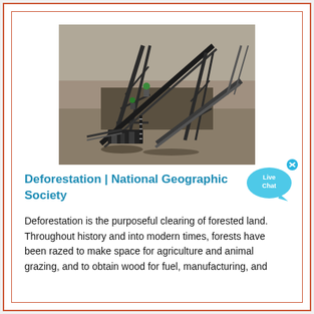[Figure (photo): Aerial view of industrial mining or construction equipment with large metal gantry structures, conveyor belts, and machinery on bare earth terrain. Workers visible in hard hats.]
Deforestation | National Geographic Society
Deforestation is the purposeful clearing of forested land. Throughout history and into modern times, forests have been razed to make space for agriculture and animal grazing, and to obtain wood for fuel, manufacturing, and